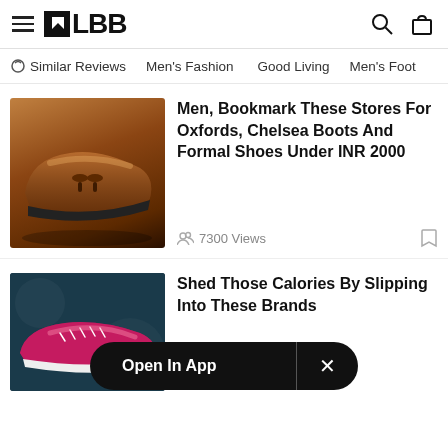LBB
Similar Reviews | Men's Fashion | Good Living | Men's Foot
Men, Bookmark These Stores For Oxfords, Chelsea Boots And Formal Shoes Under INR 2000
7300 Views
Shed Those Calories By Slipping Into These Brands
Open In App